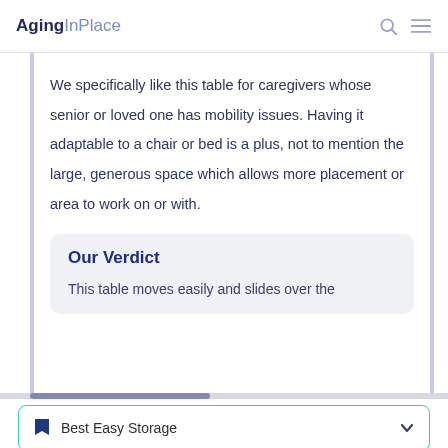AgingInPlace
We specifically like this table for caregivers whose senior or loved one has mobility issues. Having it adaptable to a chair or bed is a plus, not to mention the large, generous space which allows more placement or area to work on or with.
Our Verdict
This table moves easily and slides over the
Best Easy Storage